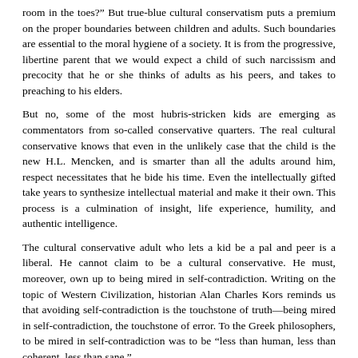room in the toes?" But true-blue cultural conservatism puts a premium on the proper boundaries between children and adults. Such boundaries are essential to the moral hygiene of a society. It is from the progressive, libertine parent that we would expect a child of such narcissism and precocity that he or she thinks of adults as his peers, and takes to preaching to his elders.
But no, some of the most hubris-stricken kids are emerging as commentators from so-called conservative quarters. The real cultural conservative knows that even in the unlikely case that the child is the new H.L. Mencken, and is smarter than all the adults around him, respect necessitates that he bide his time. Even the intellectually gifted take years to synthesize intellectual material and make it their own. This process is a culmination of insight, life experience, humility, and authentic intelligence.
The cultural conservative adult who lets a kid be a pal and peer is a liberal. He cannot claim to be a cultural conservative. He must, moreover, own up to being mired in self-contradiction. Writing on the topic of Western Civilization, historian Alan Charles Kors reminds us that avoiding self-contradiction is the touchstone of truth—being mired in self-contradiction, the touchstone of error. To the Greek philosophers, to be mired in self-contradiction was to be "less than human, less than coherent, less than sane."
©By ILANA MERCER
WorldNetDaily.com
August 14, 2002